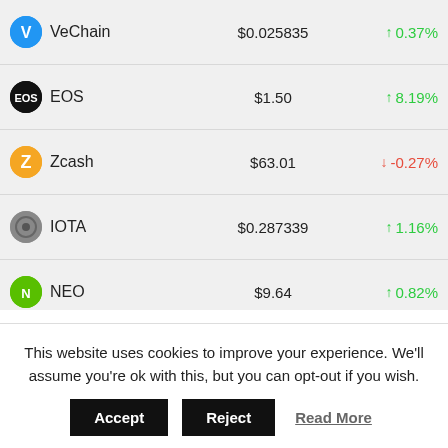| Coin | Price | Change |
| --- | --- | --- |
| VeChain | $0.025835 | ↑ 0.37% |
| EOS | $1.50 | ↑ 8.19% |
| Zcash | $63.01 | ↓ -0.27% |
| IOTA | $0.287339 | ↑ 1.16% |
| NEO | $9.64 | ↑ 0.82% |
| Dash | $45.77 | ↑ 0.42% |
| Waves | $4.79 | ↓ -0.73% |
| Bitcoin Gold | $24.93 | ↑ 1.07% |
| NEM | $0.045349 | ↑ 1.16% |
| Qtum | $3.37 | ↑ 0.31% |
| IOST | $0.013223 | ↓ -0.02% |
This website uses cookies to improve your experience. We'll assume you're ok with this, but you can opt-out if you wish.